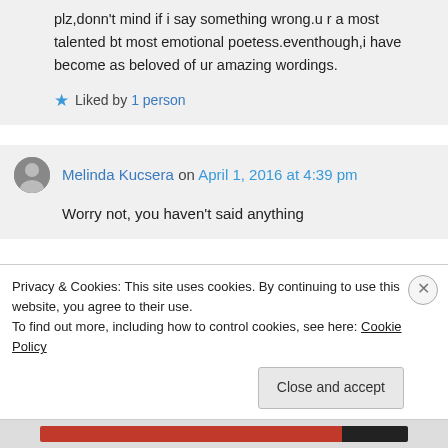plz,donn't mind if i say something wrong.u r a most talented bt most emotional poetess.eventhough,i have become as beloved of ur amazing wordings.
★ Liked by 1 person
Melinda Kucsera on April 1, 2016 at 4:39 pm
Worry not, you haven't said anything
Privacy & Cookies: This site uses cookies. By continuing to use this website, you agree to their use.
To find out more, including how to control cookies, see here: Cookie Policy